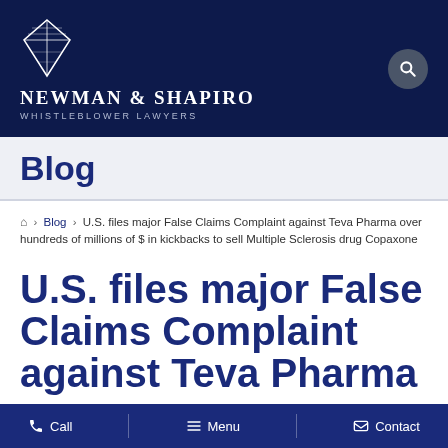NEWMAN & SHAPIRO WHISTLEBLOWER LAWYERS
Blog
🏠 > Blog > U.S. files major False Claims Complaint against Teva Pharma over hundreds of millions of $ in kickbacks to sell Multiple Sclerosis drug Copaxone
U.S. files major False Claims Complaint against Teva Pharma
Call   Menu   Contact